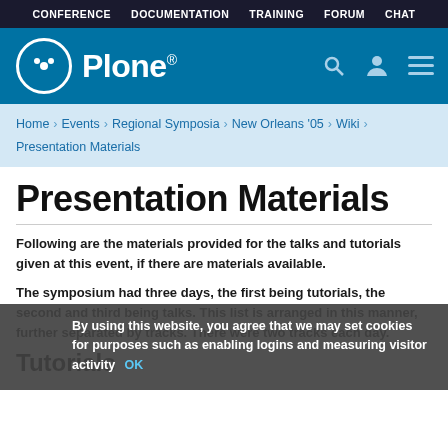CONFERENCE   DOCUMENTATION   TRAINING   FORUM   CHAT
[Figure (logo): Plone logo with circular icon and wordmark on blue background with search, user, and menu icons]
Home › Events › Regional Symposia › New Orleans '05 › Wiki › Presentation Materials
Presentation Materials
Following are the materials provided for the talks and tutorials given at this event, if there are materials available.
The symposium had three days, the first being tutorials, the second and third being talks. This list is arranged in this manner, further separated by tracks. There were two tracks each day.
Tutorials
By using this website, you agree that we may set cookies for purposes such as enabling logins and measuring visitor activity  OK